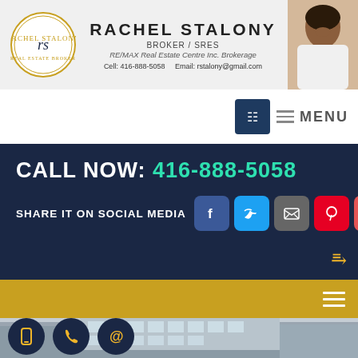RACHEL STALONY — BROKER / SRES — RE/MAX Real Estate Centre Inc. Brokerage — Cell: 416-888-5058 — Email: rstalony@gmail.com
MENU
CALL NOW: 416-888-5058
SHARE IT ON SOCIAL MEDIA
[Figure (screenshot): Building exterior photo]
[Figure (infographic): Contact icons: phone, call, email circles]